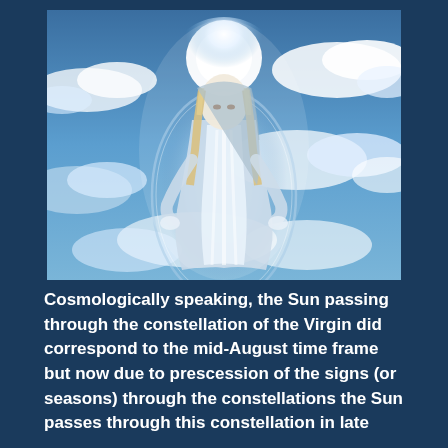[Figure (illustration): Digital illustration of a glowing ethereal female figure (Virgin Mary) in light blue robes with long blonde hair, surrounded by a halo of bright white light, floating among dramatic blue sky and white clouds]
Cosmologically speaking, the Sun passing through the constellation of the Virgin did correspond to the mid-August time frame but now due to prescession of the signs (or seasons) through the constellations the Sun passes through this constellation in late